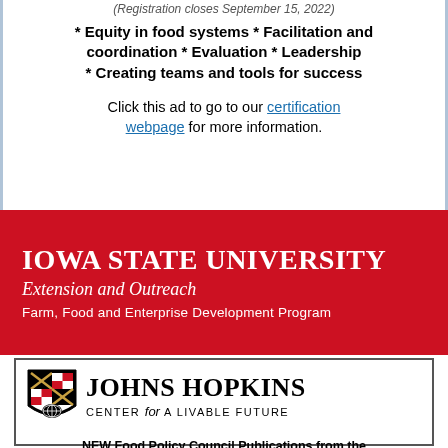(Registration closes September 15, 2022)
* Equity in food systems * Facilitation and coordination * Evaluation * Leadership * Creating teams and tools for success
Click this ad to go to our certification webpage for more information.
[Figure (logo): Iowa State University Extension and Outreach - Farm, Food and Enterprise Development Program logo on red background]
[Figure (logo): Johns Hopkins Center for a Livable Future shield logo and text]
NEW Food Policy Council Publications from the Center for a Livable Future